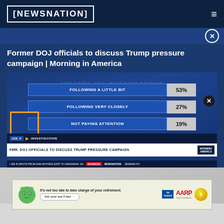NEWSNATION
Former DOJ officials to discuss Trump pressure campaign | Morning in America
[Figure (bar-chart): JANUARY 6TH INVESTIGATIONS]
FMR. DOJ OFFICIALS TO DISCUSS TRUMP PRESSURE CAMPAIGN
[Figure (screenshot): Advertisement banner: AARP retirement tips ad with mascot character]
Getting Rid of Moles & Skin Tags Has Never Been So Simple